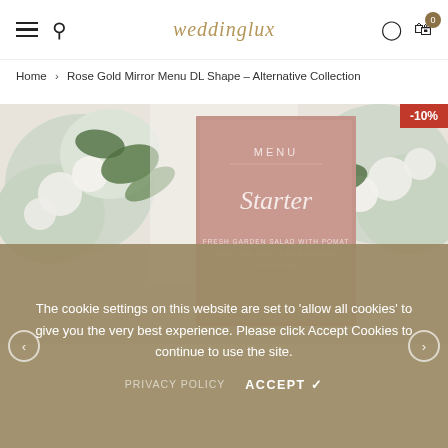weddinglux — navigation header with hamburger menu, search, logo, user icon, cart (0)
Home > Rose Gold Mirror Menu DL Shape – Alternative Collection
[Figure (photo): Product photo of a rose gold mirror menu card with 'MENU' and 'Starter' text, surrounded by white and green floral arrangement. A -10% discount badge is shown in top right corner.]
The cookie settings on this website are set to 'allow all cookies' to give you the very best experience. Please click Accept Cookies to continue to use the site.
PRIVACY POLICY    ACCEPT ✓